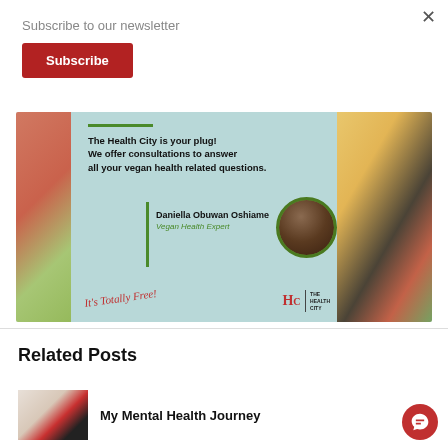×
Subscribe to our newsletter
Subscribe
[Figure (infographic): The Health City promotional banner featuring vegan health consultation offer with Daniella Obuwan Oshiame, Vegan Health Expert. Shows food bowls on left and right, green branding, circular portrait, cursive 'It's Totally Free!' text, and The Health City logo.]
Related Posts
My Mental Health Journey